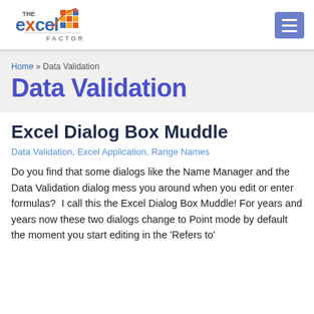The Excel Factor [logo] [menu button]
Home » Data Validation
Data Validation
Excel Dialog Box Muddle
Data Validation, Excel Application, Range Names
Do you find that some dialogs like the Name Manager and the Data Validation dialog mess you around when you edit or enter formulas?  I call this the Excel Dialog Box Muddle! For years and years now these two dialogs change to Point mode by default the moment you start editing in the 'Refers to'